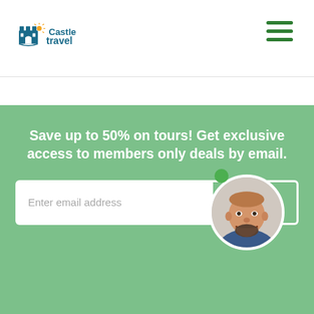[Figure (logo): Castle Travel logo with castle icon in teal/blue and orange sun accent, text 'Castle travel' in teal]
[Figure (infographic): Hamburger menu icon (three green horizontal lines) in top right corner]
Save up to 50% on tours! Get exclusive access to members only deals by email.
[Figure (infographic): Email subscription form with white input field showing placeholder 'Enter email address' and a 'Subscribe' button on green background, with a circular avatar photo of a smiling bald bearded man with a green online indicator dot]